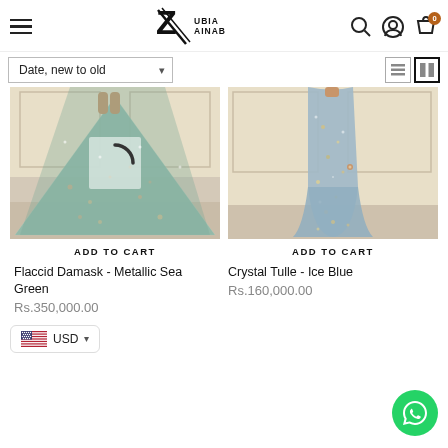Zubia Zainab e-commerce header with logo, search, account, cart icons
Date, new to old
[Figure (photo): Sparkly metallic sea green bridal lehenga gown on model]
[Figure (photo): Crystal tulle ice blue embellished gown on model]
ADD TO CART
ADD TO CART
Flaccid Damask - Metallic Sea Green
Rs.350,000.00
Crystal Tulle - Ice Blue
Rs.160,000.00
USD